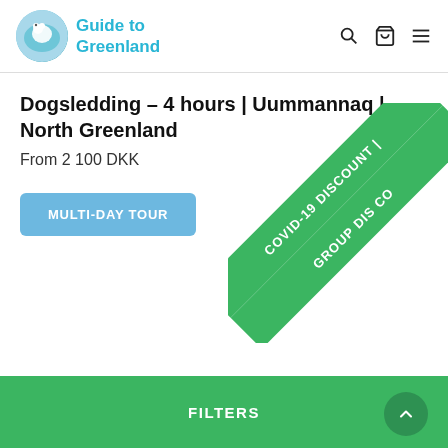Guide to Greenland
Dogsledding – 4 hours | Uummannaq | North Greenland
From 2 100 DKK
MULTI-DAY TOUR
[Figure (other): Diagonal green ribbon banner with text: COVID-19 DISCOUNT | GROUP DISCO]
FILTERS